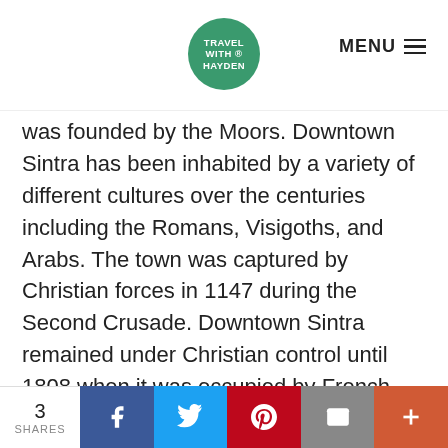TRAVEL WITH HAYDEN | MENU
was founded by the Moors. Downtown Sintra has been inhabited by a variety of different cultures over the centuries including the Romans, Visigoths, and Arabs. The town was captured by Christian forces in 1147 during the Second Crusade. Downtown Sintra remained under Christian control until 1808 when it was occupied by French troops during the Peninsular War.
Downtown Sintra is home to a number of
3 SHARES | f | 🐦 | ℗ | ✉ | +